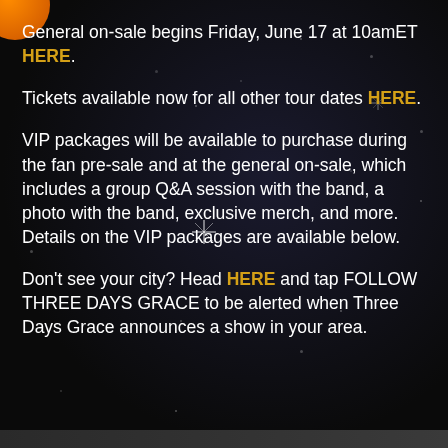General on-sale begins Friday, June 17 at 10amET HERE.
Tickets available now for all other tour dates HERE.
VIP packages will be available to purchase during the fan pre-sale and at the general on-sale, which includes a group Q&A session with the band, a photo with the band, exclusive merch, and more. Details on the VIP packages are available below.
Don't see your city? Head HERE and tap FOLLOW THREE DAYS GRACE to be alerted when Three Days Grace announces a show in your area.